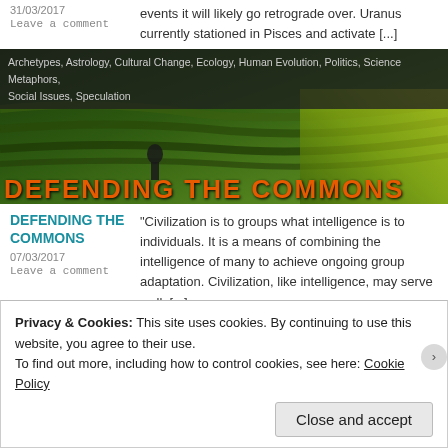31/03/2017
Leave a comment
events it will likely go retrograde over. Uranus currently stationed in Pisces and activate [...]
[Figure (photo): Banner image showing terraced rice fields and vegetation with tags overlay reading: Archetypes, Astrology, Cultural Change, Ecology, Human Evolution, Politics, Science Metaphors, Social Issues, Speculation. Large orange text at bottom reads DEFENDING THE COMMONS.]
DEFENDING THE COMMONS
07/03/2017
Leave a comment
"Civilization is to groups what intelligence is to individuals. It is a means of combining the intelligence of many to achieve ongoing group adaptation. Civilization, like intelligence, may serve well, [...]
Privacy & Cookies: This site uses cookies. By continuing to use this website, you agree to their use.
To find out more, including how to control cookies, see here: Cookie Policy
Close and accept